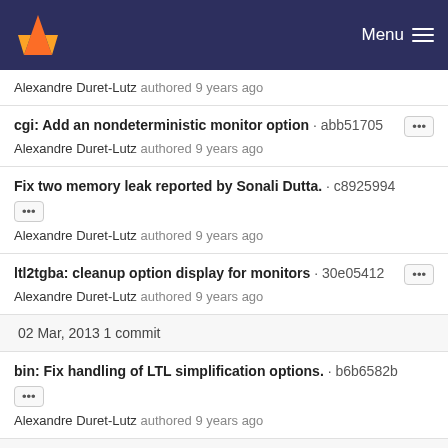GitLab — Menu
Alexandre Duret-Lutz authored 9 years ago
cgi: Add an nondeterministic monitor option · abb51705 — Alexandre Duret-Lutz authored 9 years ago
Fix two memory leak reported by Sonali Dutta. · c8925994 — Alexandre Duret-Lutz authored 9 years ago
ltl2tgba: cleanup option display for monitors · 30e05412 — Alexandre Duret-Lutz authored 9 years ago
02 Mar, 2013 1 commit
bin: Fix handling of LTL simplification options. · b6b6582b — Alexandre Duret-Lutz authored 9 years ago
20 Feb, 2013 2 commits